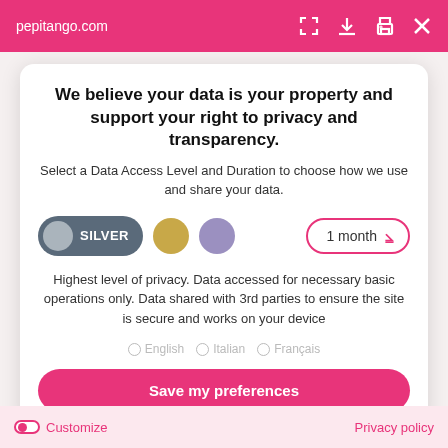pepitango.com
We believe your data is your property and support your right to privacy and transparency.
Select a Data Access Level and Duration to choose how we use and share your data.
[Figure (infographic): Data access level selector: Silver toggle button selected (dark gray), gold circle, purple circle, and 1 month dropdown selector with pink border]
Highest level of privacy. Data accessed for necessary basic operations only. Data shared with 3rd parties to ensure the site is secure and works on your device
English  Italian  Français
Save my preferences
Customize   Privacy policy